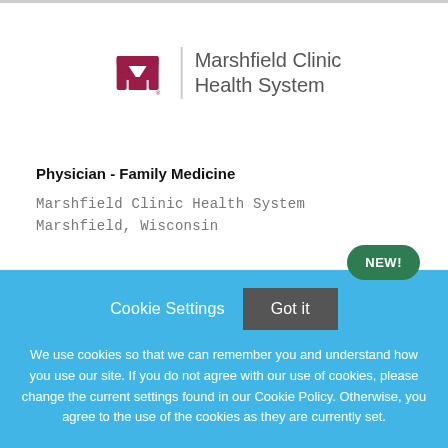[Figure (logo): Marshfield Clinic Health System logo with red/maroon stylized M cross icon and text]
Physician - Family Medicine
Marshfield Clinic Health System
Marshfield, Wisconsin
NEW!
Cookie Settings   Got it
We use cookies so that we can remember you and understand how you use our site. If you do not agree with our use of cookies, please change the current settings found in our Cookie Policy. Otherwise, you agree to the use of the cookies as they are currently set.